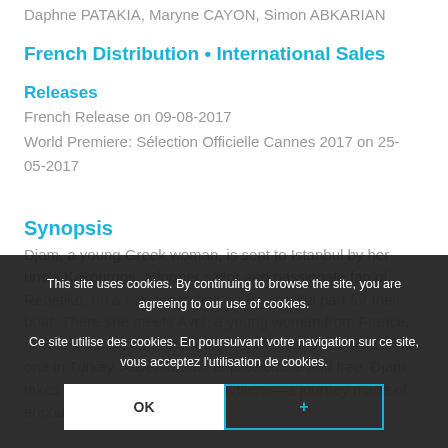Daphne PATAKIA, Maryne CAYON, Simon ABKARIAN
French Distribution • International Sales
Releases
French Release on 09-08-2017
World Premiere: Sélection Officielle Cannes 2017 on 25-05-2017
Synopsis
Djam, a young Greek woman, is sent to Istanbul by her uncle Kakourgos, a former sailor and passionate fan of Rebetiko, on a mission to find a rare, soulful part for their boat. There she meets Avril, a young woman from France, to volunteer with refugees, ran out of money and knows no one in Turkey. Adventurous, unpredictable and free, Djam takes Avril under her wing to Mytilene—a journey made of encounters, sharing and hope.
This site uses cookies. By continuing to browse the site, you are agreeing to our use of cookies.
Ce site utilise des cookies. En poursuivant votre navigation sur ce site, vous acceptez l'utilisation de cookies.